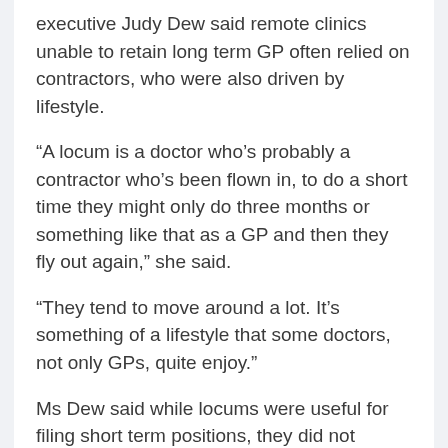executive Judy Dew said remote clinics unable to retain long term GP often relied on contractors, who were also driven by lifestyle.
“A locum is a doctor who’s probably a contractor who’s been flown in, to do a short time they might only do three months or something like that as a GP and then they fly out again,” she said.
“They tend to move around a lot. It’s something of a lifestyle that some doctors, not only GPs, quite enjoy.”
Ms Dew said while locums were useful for filing short term positions, they did not provide the same service a community GP could provide.